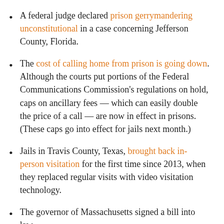A federal judge declared prison gerrymandering unconstitutional in a case concerning Jefferson County, Florida.
The cost of calling home from prison is going down. Although the courts put portions of the Federal Communications Commission’s regulations on hold, caps on ancillary fees — which can easily double the price of a call — are now in effect in prisons. (These caps go into effect for jails next month.)
Jails in Travis County, Texas, brought back in-person visitation for the first time since 2013, when they replaced regular visits with video visitation technology.
The governor of Massachusetts signed a bill into law